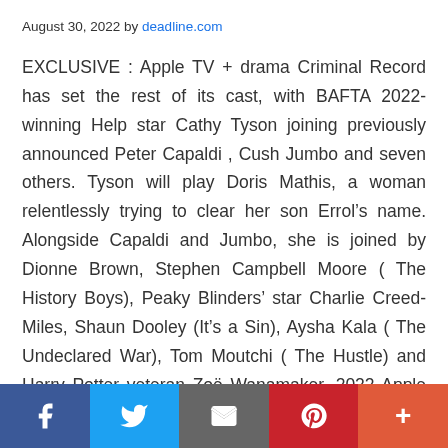August 30, 2022 by deadline.com
EXCLUSIVE : Apple TV + drama Criminal Record has set the rest of its cast, with BAFTA 2022-winning Help star Cathy Tyson joining previously announced Peter Capaldi , Cush Jumbo and seven others. Tyson will play Doris Mathis, a woman relentlessly trying to clear her son Errol’s name. Alongside Capaldi and Jumbo, she is joined by Dionne Brown, Stephen Campbell Moore ( The History Boys), Peaky Blinders’ star Charlie Creed-Miles, Shaun Dooley (It’s a Sin), Aysha Kala ( The Undeclared War), Tom Moutchi ( The Hustle) and Harry Potter veteran Zoë Wanamaker. 2022 Apple TV+ Pilots &